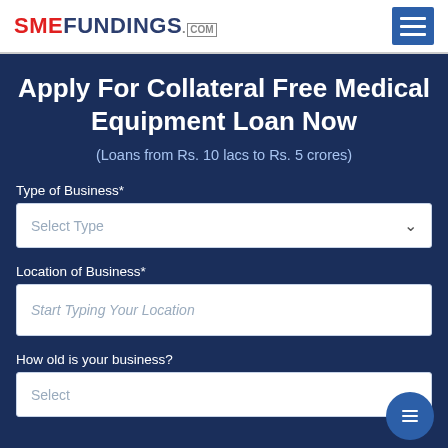SMEFUNDINGS.COM
Apply For Collateral Free Medical Equipment Loan Now
(Loans from Rs. 10 lacs to Rs. 5 crores)
Type of Business*
Select Type
Location of Business*
Start Typing Your Location
How old is your business?
Select